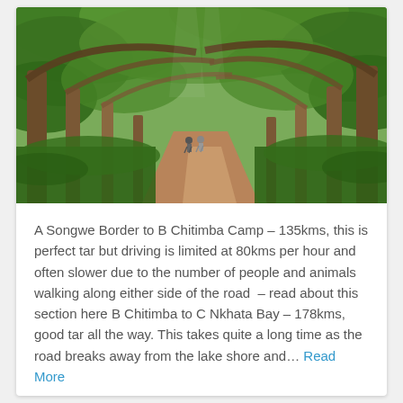[Figure (photo): A dirt path through a lush green forest with tall trees arching overhead. Two people are walking in the distance along the path.]
A Songwe Border to B Chitimba Camp – 135kms, this is perfect tar but driving is limited at 80kms per hour and often slower due to the number of people and animals walking along either side of the road – read about this section here B Chitimba to C Nkhata Bay – 178kms, good tar all the way. This takes quite a long time as the road breaks away from the lake shore and… Read More